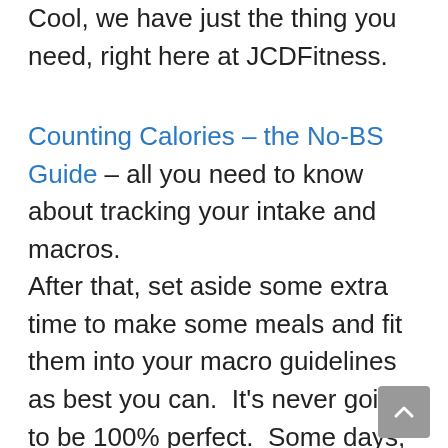Cool, we have just the thing you need, right here at JCDFitness.
Counting Calories – the No-BS Guide – all you need to know about tracking your intake and macros.
After that, set aside some extra time to make some meals and fit them into your macro guidelines as best you can.  It's never going to be 100% perfect.  Some days, you will have more carbs, and other days more fat.  Sometimes, you might also have…